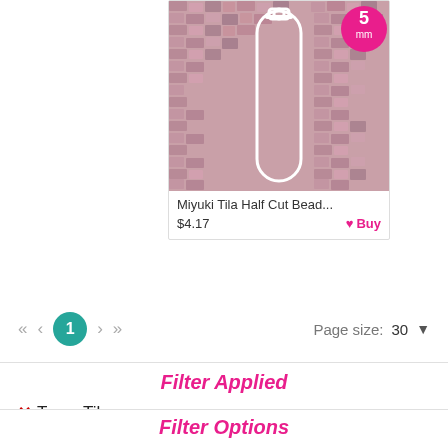[Figure (photo): Product image of Miyuki Tila Half Cut Beads - pinkish-purple beads shown in bulk with a tube/bottle icon overlay and a pink circular badge showing '5 mm']
Miyuki Tila Half Cut Bead...
$4.17   ♥ Buy
«  <  1  >  »   Page size: 30 ▼
Filter Applied
✕ Type: Tila
✕ Item: Bead
✕ Shape: Rectangle
Clear All Filters
Filter Options